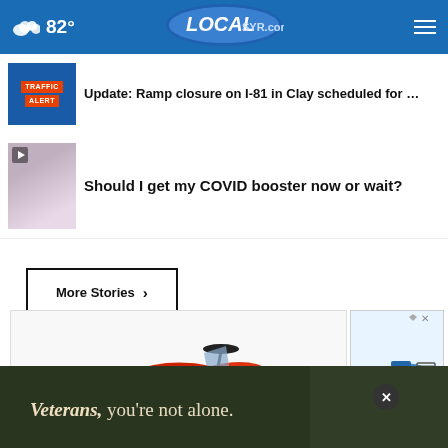82° LOCAL SYR.com
Update: Ramp closure on I-81 in Clay scheduled for …
Should I get my COVID booster now or wait?
More Stories ›
[Figure (photo): Advertisement showing red electric scooters]
[Figure (photo): Small advertisement showing blue electric scooter]
[Figure (photo): Bottom banner ad: Veterans, you're not alone.]